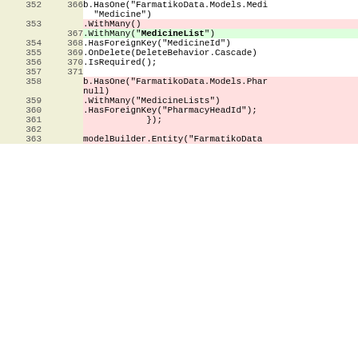| old_line | new_line | code |
| --- | --- | --- |
| 352 | 366 | b.HasOne("FarmatikoData.Models.Medi...
"Medicine") |
| 353 |  | .WithMany() |
|  | 367 | .WithMany("MedicineList") |
| 354 | 368 | .HasForeignKey("MedicineId") |
| 355 | 369 | .OnDelete(DeleteBehavior.Cascade) |
| 356 | 370 | .IsRequired(); |
| 357 | 371 |  |
| 358 |  | b.HasOne("FarmatikoData.Models.Phar...
null) |
| 359 |  | .WithMany("MedicineLists") |
| 360 |  | .HasForeignKey("PharmacyHeadId"); |
| 361 |  |             }); |
| 362 |  |  |
| 363 |  | modelBuilder.Entity("FarmatikoData... |